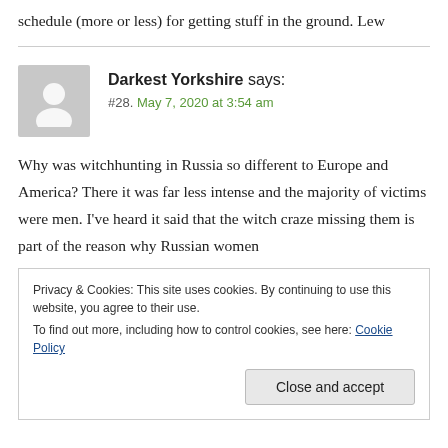schedule (more or less) for getting stuff in the ground. Lew
Darkest Yorkshire says:
#28. May 7, 2020 at 3:54 am
Why was witchhunting in Russia so different to Europe and America? There it was far less intense and the majority of victims were men. I've heard it said that the witch craze missing them is part of the reason why Russian women
Privacy & Cookies: This site uses cookies. By continuing to use this website, you agree to their use.
To find out more, including how to control cookies, see here: Cookie Policy
Close and accept